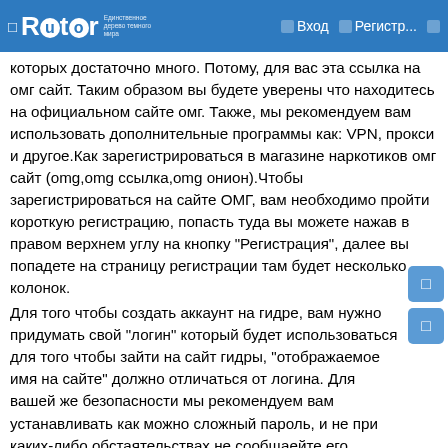Rutor — Вход — Регистр...
которых достаточно много. Потому, для вас эта ссылка на омг сайт. Таким образом вы будете уверены что находитесь на официальном сайте омг. Также, мы рекомендуем вам использовать дополнительные программы как: VPN, прокси и другое.Как зарегистрироваться в магазине наркотиков омг сайт (omg,omg ссылка,omg онион).Чтобы зарегистрироваться на сайте ОМГ, вам необходимо пройти короткую регистрацию, попасть туда вы можете нажав в правом верхнем углу на кнопку "Регистрация", далее вы попадете на страницу регистрации там будет несколько колонок.
Для того чтобы создать аккаунт на гидре, вам нужно придумать свой "логин" который будет использоваться для того чтобы зайти на сайт гидры, "отображаемое имя на сайте" должно отличаться от логина. Для вашей же безопасности мы рекомендуем вам устанавливать как можно сложный пароль, и не при каких-либо обстаятельствах не сообщаейте его никому, даже администрации Гидры, никто не вправе знать ваш пароль,